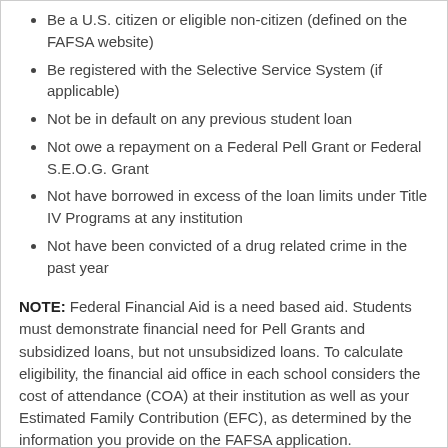Be a U.S. citizen or eligible non-citizen (defined on the FAFSA website)
Be registered with the Selective Service System (if applicable)
Not be in default on any previous student loan
Not owe a repayment on a Federal Pell Grant or Federal S.E.O.G. Grant
Not have borrowed in excess of the loan limits under Title IV Programs at any institution
Not have been convicted of a drug related crime in the past year
NOTE: Federal Financial Aid is a need based aid. Students must demonstrate financial need for Pell Grants and subsidized loans, but not unsubsidized loans. To calculate eligibility, the financial aid office in each school considers the cost of attendance (COA) at their institution as well as your Estimated Family Contribution (EFC), as determined by the information you provide on the FAFSA application.